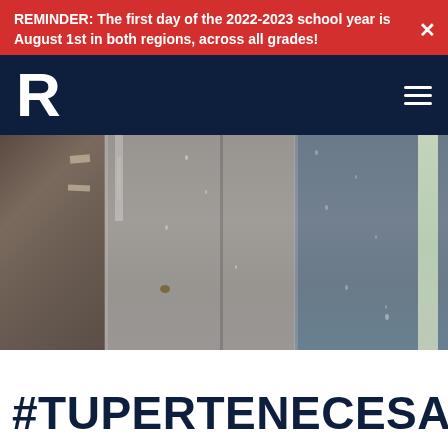REMINDER: The first day of the 2022-2023 school year is August 1st in both regions, across all grades!
[Figure (logo): Bold white letter R logo on dark navy background, with hamburger menu icon on the right]
[Figure (photo): Close-up photo of building exterior siding showing worn gray and brown surfaces with rain droplets, peeling material visible on left side, greenery on far right]
#TUPERTENECESA